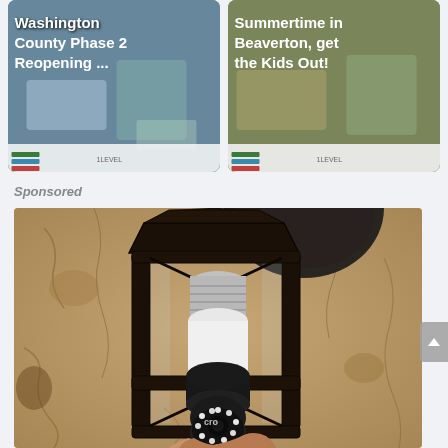[Figure (screenshot): Thumbnail card: Washington County Phase 2 Reopening ... with blurred background image of charts/maps]
[Figure (screenshot): Thumbnail card: Summertime in Beaverton, get the Kids Out! with blurred background image]
Sponsored
[Figure (photo): Sponsored advertisement photo showing a smart security camera bulb installed in an outdoor lantern-style wall light fixture mounted on a stone/stucco wall. A hand is holding the camera bulb. The camera has LED lights around the lens.]